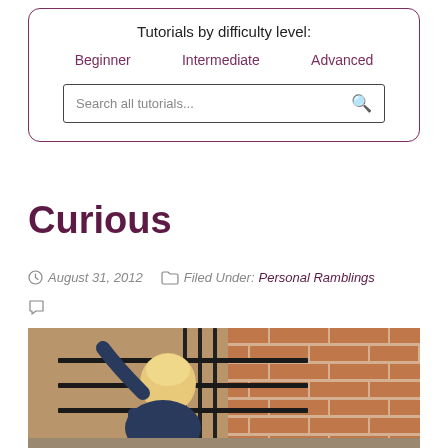Tutorials by difficulty level:
Beginner
Intermediate
Advanced
Search all tutorials...
Curious
August 31, 2012   Filed Under: Personal Ramblings
[Figure (photo): A young toddler with blonde hair reaching up toward a black metal fence against a red brick wall, viewed from behind. The child is wearing a dark blue jacket.]